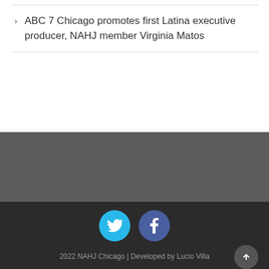ABC 7 Chicago promotes first Latina executive producer, NAHJ member Virginia Matos
2022 NAHJ Chicago | Developed by Lucio Villa